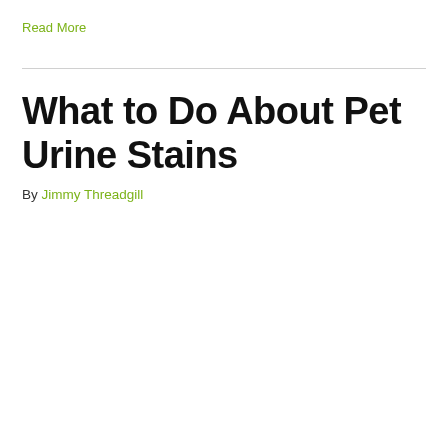Read More
What to Do About Pet Urine Stains
By Jimmy Threadgill